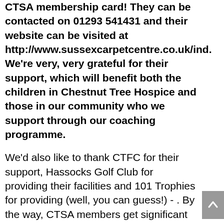CTSA membership card! They can be contacted on 01293 541431 and their website can be visited at http://www.sussexcarpetcentre.co.uk/ind. We're very, very grateful for their support, which will benefit both the children in Chestnut Tree Hospice and those in our community who we support through our coaching programme.
We'd also like to thank CTFC for their support, Hassocks Golf Club for providing their facilities and 101 Trophies for providing (well, you can guess!) - . By the way, CTSA members get significant